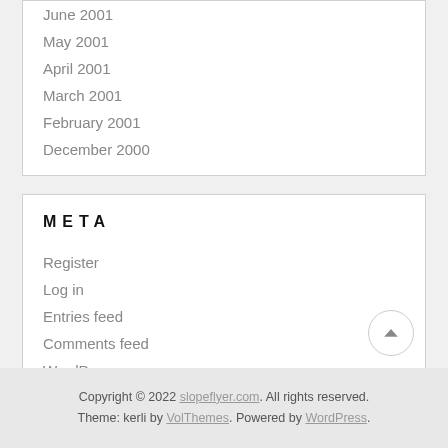June 2001
May 2001
April 2001
March 2001
February 2001
December 2000
META
Register
Log in
Entries feed
Comments feed
WordPress.org
Copyright © 2022 slopeflyer.com. All rights reserved. Theme: kerli by VolThemes. Powered by WordPress.